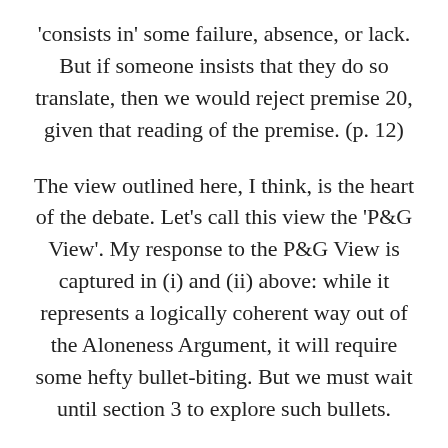'consists in' some failure, absence, or lack. But if someone insists that they do so translate, then we would reject premise 20, given that reading of the premise. (p. 12)
The view outlined here, I think, is the heart of the debate. Let's call this view the 'P&G View'. My response to the P&G View is captured in (i) and (ii) above: while it represents a logically coherent way out of the Aloneness Argument, it will require some hefty bullet-biting. But we must wait until section 3 to explore such bullets.
What, then, about Pawl and Grant's response to our second rejoinder to Objection One? Therein